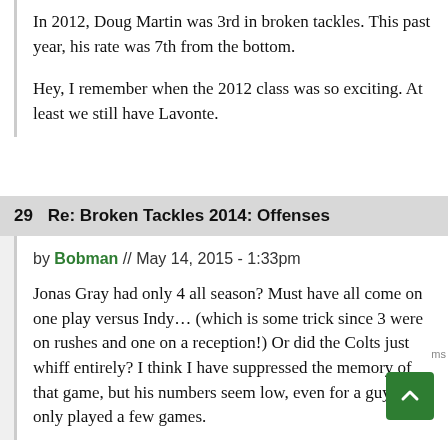In 2012, Doug Martin was 3rd in broken tackles. This past year, his rate was 7th from the bottom.
Hey, I remember when the 2012 class was so exciting. At least we still have Lavonte.
29  Re: Broken Tackles 2014: Offenses
by Bobman // May 14, 2015 - 1:33pm
Jonas Gray had only 4 all season? Must have all come on one play versus Indy... (which is some trick since 3 were on rushes and one on a reception!) Or did the Colts just whiff entirely? I think I have suppressed the memory of that game, but his numbers seem low, even for a guy who only played a few games.